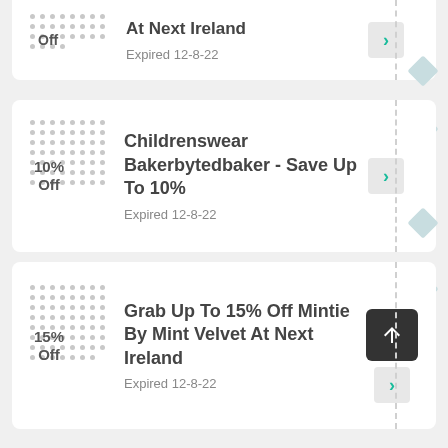Off
At Next Ireland
Expired 12-8-22
10% Off
Childrenswear Bakerbytedbaker - Save Up To 10%
Expired 12-8-22
15% Off
Grab Up To 15% Off Mintie By Mint Velvet At Next Ireland
Expired 12-8-22